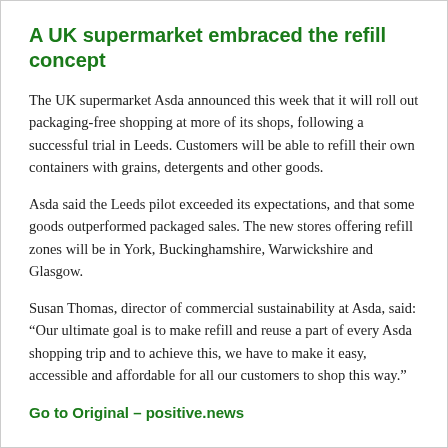A UK supermarket embraced the refill concept
The UK supermarket Asda announced this week that it will roll out packaging-free shopping at more of its shops, following a successful trial in Leeds. Customers will be able to refill their own containers with grains, detergents and other goods.
Asda said the Leeds pilot exceeded its expectations, and that some goods outperformed packaged sales. The new stores offering refill zones will be in York, Buckinghamshire, Warwickshire and Glasgow.
Susan Thomas, director of commercial sustainability at Asda, said: “Our ultimate goal is to make refill and reuse a part of every Asda shopping trip and to achieve this, we have to make it easy, accessible and affordable for all our customers to shop this way.”
Go to Original – positive.news